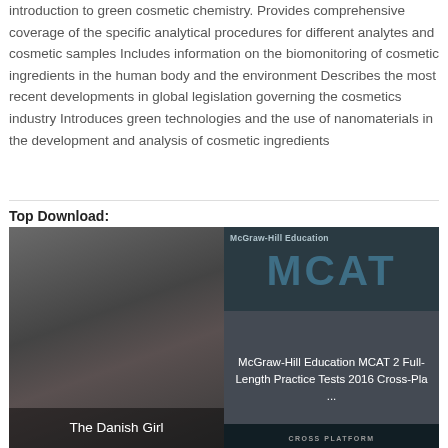introduction to green cosmetic chemistry. Provides comprehensive coverage of the specific analytical procedures for different analytes and cosmetic samples Includes information on the biomonitoring of cosmetic ingredients in the human body and the environment Describes the most recent developments in global legislation governing the cosmetics industry Introduces green technologies and the use of nanomaterials in the development and analysis of cosmetic ingredients
Top Download:
[Figure (photo): Book cover thumbnail for 'The Danish Girl' showing a dark portrait photo of a person with overlaid white title text]
[Figure (photo): Book cover thumbnail for 'McGraw-Hill Education MCAT 2 Full-Length Practice Tests 2016 Cross-Platform' showing dark teal background with MCAT text and cross-platform branding]